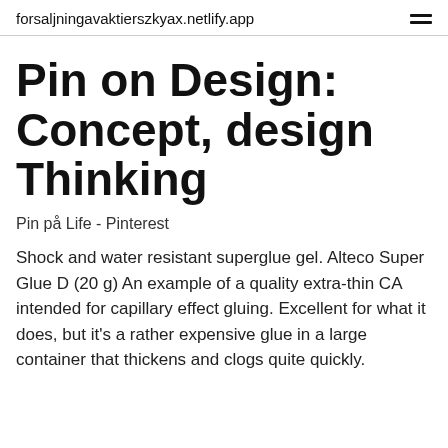forsaljningavaktierszkyax.netlify.app
Pin on Design: Concept, design Thinking
Pin på Life - Pinterest
Shock and water resistant superglue gel. Alteco Super Glue D (20 g) An example of a quality extra-thin CA intended for capillary effect gluing. Excellent for what it does, but it's a rather expensive glue in a large container that thickens and clogs quite quickly.